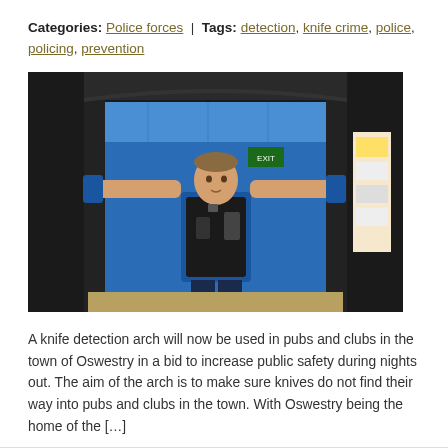Categories: Police forces | Tags: detection, knife crime, police, policing, prevention
[Figure (photo): A police officer in a blue uniform and tactical vest stands inside a black metal knife detection arch, arms outstretched to hold the arch frame, in an indoor setting with a blue wall and exit sign visible behind.]
A knife detection arch will now be used in pubs and clubs in the town of Oswestry in a bid to increase public safety during nights out. The aim of the arch is to make sure knives do not find their way into pubs and clubs in the town. With Oswestry being the home of the […]
Read More »